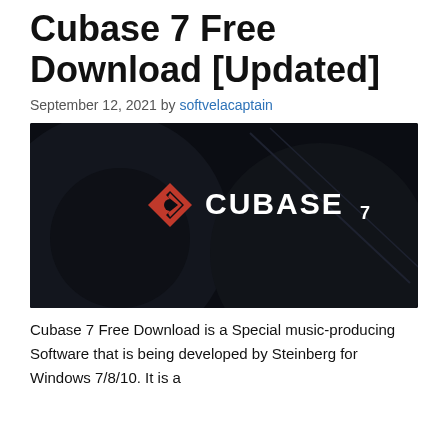Cubase 7 Free Download [Updated]
September 12, 2021 by softvelacaptain
[Figure (screenshot): Cubase 7 software logo on a dark background. A red angular 'C' logo icon followed by white bold text 'CUBASE 7' on a dark navy/black abstract circular graphic background.]
Cubase 7 Free Download is a Special music-producing Software that is being developed by Steinberg for Windows 7/8/10. It is a